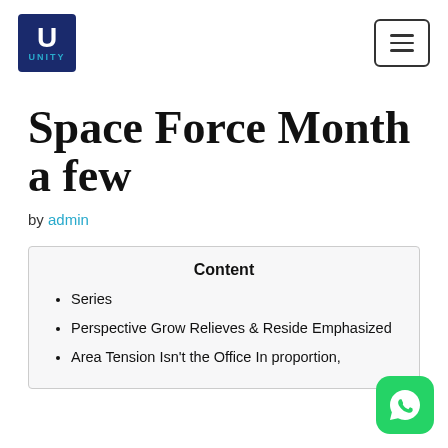UNITY logo and navigation menu button
Space Force Month a few
by admin
Content
Series
Perspective Grow Relieves & Reside Emphasized
Area Tension Isn't the Office In proportion,